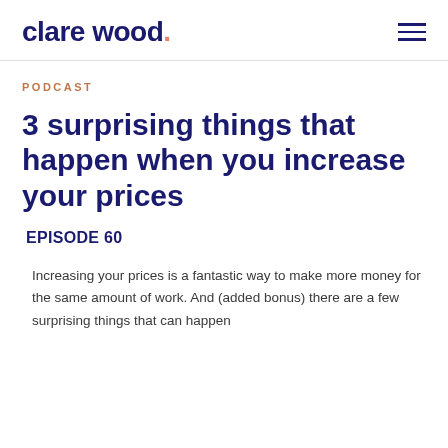clare wood.
PODCAST
3 surprising things that happen when you increase your prices
EPISODE 60
Increasing your prices is a fantastic way to make more money for the same amount of work. And (added bonus) there are a few surprising things that can happen